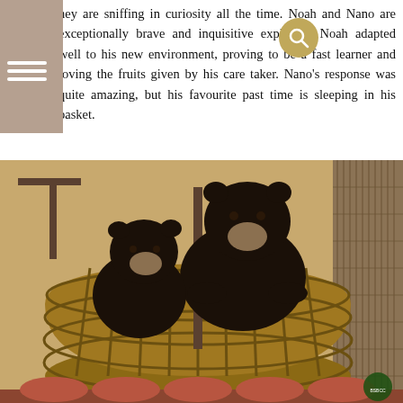hey are sniffing in curiosity all the time. Noah and Nano are exceptionally brave and inquisitive explorers. Noah adapted well to his new environment, proving to be a fast learner and loving the fruits given by his care taker. Nano's response was quite amazing, but his favourite past time is sleeping in his basket.
[Figure (photo): Two sun bears (Noah and Nano) sitting together inside a round wicker/rattan basket enclosure. The bears are dark black with lighter muzzles. The background shows a yellowish wall and a bamboo/rattan panel on the right side. A small BSBCC (Bornean Sun Bear Conservation Centre) logo is visible in the bottom right corner.]